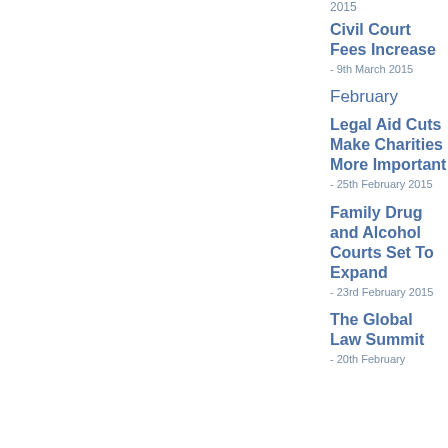2015
Civil Court Fees Increase - 9th March 2015
February
Legal Aid Cuts Make Charities More Important - 25th February 2015
Family Drug and Alcohol Courts Set To Expand - 23rd February 2015
The Global Law Summit - 20th February